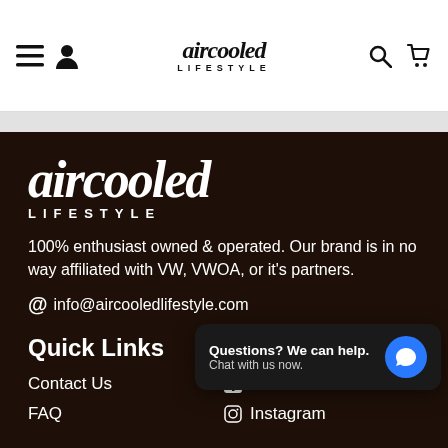aircooled LIFESTYLE — navigation header with menu, user, search, cart icons
[Figure (logo): Aircooled Lifestyle logo in dark gothic script with LIFESTYLE lettering below]
100% enthusiast owned & operated. Our brand is in no way affiliated with VW, VWOA, or it's partners.
@ info@aircooledlifestyle.com
Quick Links
Follow us
Contact Us
FAQ
Questions? We can help. Chat with us now.